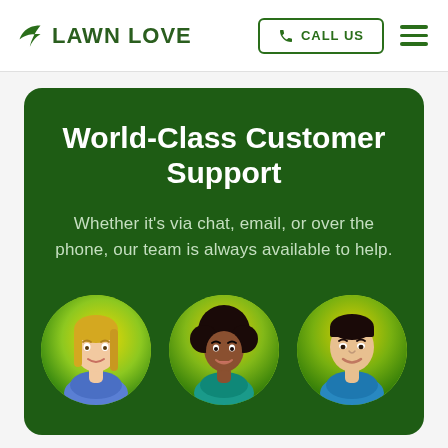[Figure (logo): Lawn Love logo with green leaf icon and bold green text 'LAWN LOVE']
CALL US
World-Class Customer Support
Whether it's via chat, email, or over the phone, our team is always available to help.
[Figure (photo): Three customer support team member circular avatar photos on yellow-green gradient backgrounds: blonde woman, black woman with curly hair, Asian man]